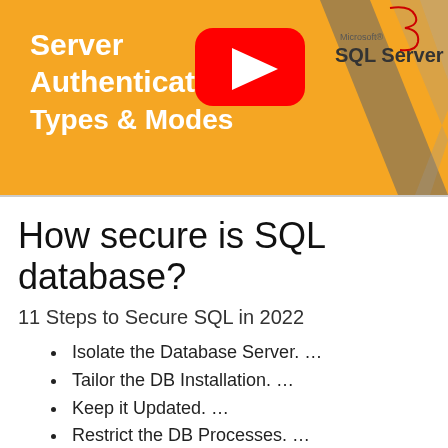[Figure (screenshot): YouTube thumbnail for a video about SQL Server Authentication Types & Modes. Orange background with white bold text reading 'Server Authentication Types & Modes', a red YouTube play button icon in the center, and the Microsoft SQL Server logo on the right side with a black and white abstract design.]
How secure is SQL database?
11 Steps to Secure SQL in 2022
Isolate the Database Server. …
Tailor the DB Installation. …
Keep it Updated. …
Restrict the DB Processes. …
Restrict SQL Traffic. …
Use Least Privilege When Assigning Permissions.